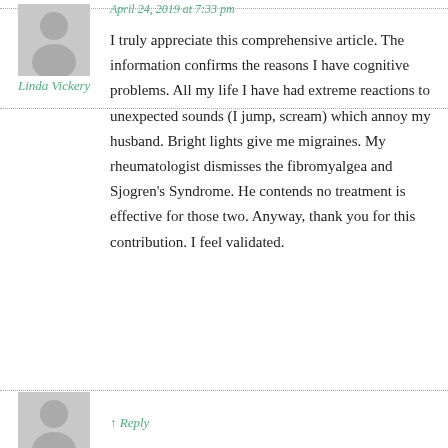April 24, 2019 at 7:33 pm
[Figure (illustration): Grey avatar silhouette of a person, placeholder profile image]
Linda Vickery
I truly appreciate this comprehensive article. The information confirms the reasons I have cognitive problems. All my life I have had extreme reactions to unexpected sounds (I jump, scream) which annoy my husband. Bright lights give me migraines. My rheumatologist dismisses the fibromyalgea and Sjogren's Syndrome. He contends no treatment is effective for those two. Anyway, thank you for this contribution. I feel validated.
[Figure (illustration): Grey avatar silhouette of a person, partially visible at bottom, placeholder profile image]
↑ Reply